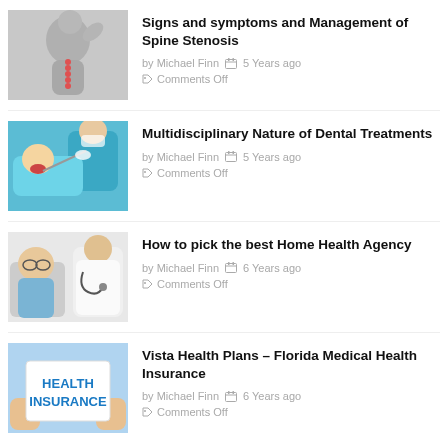[Figure (photo): Black and white photo of a person holding their neck in pain with highlighted spine]
Signs and symptoms and Management of Spine Stenosis
by Michael Finn  🗓 5 Years ago
🏷 Comments Off
[Figure (photo): Dentist in blue scrubs examining a child patient in a dental chair]
Multidisciplinary Nature of Dental Treatments
by Michael Finn  🗓 5 Years ago
🏷 Comments Off
[Figure (photo): Elderly patient with glasses being examined by a doctor with a stethoscope]
How to pick the best Home Health Agency
by Michael Finn  🗓 6 Years ago
🏷 Comments Off
[Figure (photo): Hands holding a white card that reads HEALTH INSURANCE in blue text]
Vista Health Plans – Florida Medical Health Insurance
by Michael Finn  🗓 6 Years ago
🏷 Comments Off